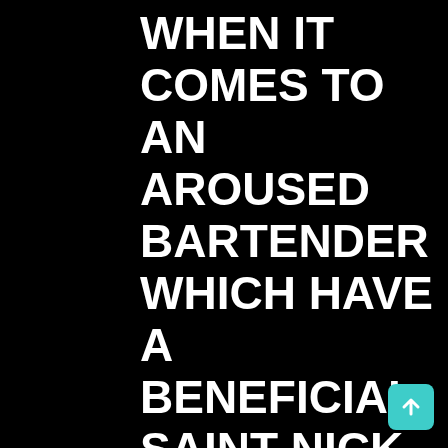WHEN IT COMES TO AN AROUSED BARTENDER WHICH HAVE A BENEFICIAL SAINT NICK FETISH (LAUREN GRAHAM OUT OF “GILMORE LADY”) AND YOU MAY A HEAVY, UNDERLOVED BOY
[Figure (illustration): A teal/cyan rounded square button with a white upward-pointing arrow icon, positioned in the bottom-right corner.]